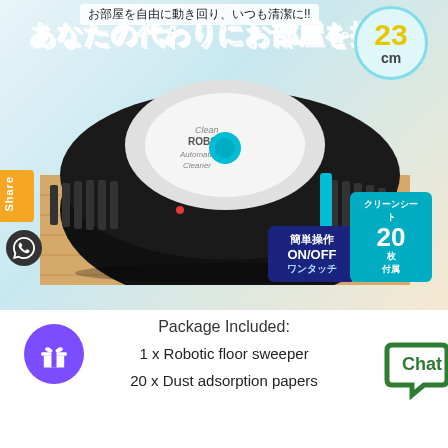[Figure (photo): Robotic floor sweeper product image with Japanese promotional text, size badge showing 23cm, ON/OFF one-touch badge, and 20 clean sheets badge]
Package Included:
1 x Robotic floor sweeper
20 x Dust adsorption papers